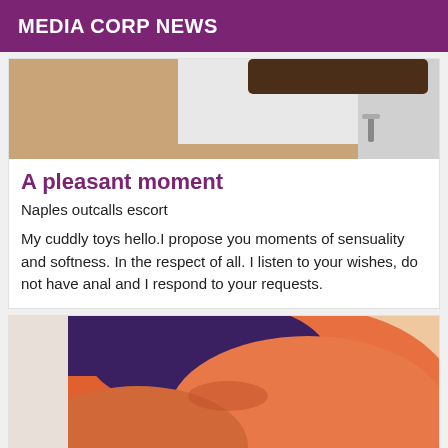MEDIA CORP NEWS
[Figure (photo): Top portion of a photo showing a person stretching with a wooden table visible]
A pleasant moment
Naples outcalls escort
My cuddly toys hello.I propose you moments of sensuality and softness. In the respect of all. I listen to your wishes, do not have anal and I respond to your requests.
[Figure (photo): Close-up photo of a person wearing dark underwear]